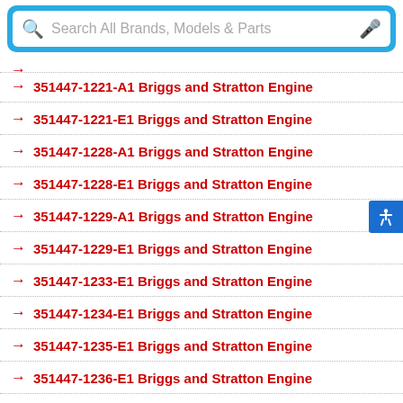[Figure (screenshot): Search bar with magnifying glass icon and microphone icon, placeholder text 'Search All Brands, Models & Parts', styled with blue border]
351447-1221-A1 Briggs and Stratton Engine
351447-1221-E1 Briggs and Stratton Engine
351447-1228-A1 Briggs and Stratton Engine
351447-1228-E1 Briggs and Stratton Engine
351447-1229-A1 Briggs and Stratton Engine
351447-1229-E1 Briggs and Stratton Engine
351447-1233-E1 Briggs and Stratton Engine
351447-1234-E1 Briggs and Stratton Engine
351447-1235-E1 Briggs and Stratton Engine
351447-1236-E1 Briggs and Stratton Engine
351447-1237-E1 Briggs and Stratton Engine
351447-1238-E1 Briggs and Stratton Engine